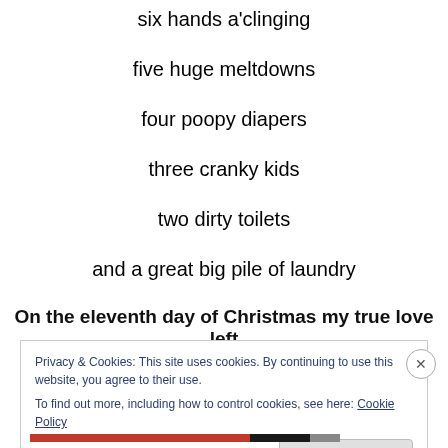six hands a'clinging
five huge meltdowns
four poopy diapers
three cranky kids
two dirty toilets
and a great big pile of laundry
On the eleventh day of Christmas my true love left
Privacy & Cookies: This site uses cookies. By continuing to use this website, you agree to their use.
To find out more, including how to control cookies, see here: Cookie Policy
Close and accept